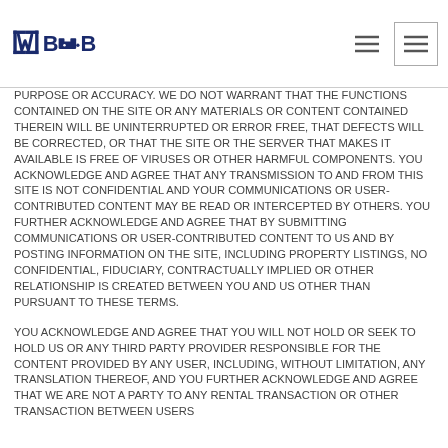BedandBreakfast.com logo and navigation
PURPOSE OR ACCURACY. WE DO NOT WARRANT THAT THE FUNCTIONS CONTAINED ON THE SITE OR ANY MATERIALS OR CONTENT CONTAINED THEREIN WILL BE UNINTERRUPTED OR ERROR FREE, THAT DEFECTS WILL BE CORRECTED, OR THAT THE SITE OR THE SERVER THAT MAKES IT AVAILABLE IS FREE OF VIRUSES OR OTHER HARMFUL COMPONENTS. YOU ACKNOWLEDGE AND AGREE THAT ANY TRANSMISSION TO AND FROM THIS SITE IS NOT CONFIDENTIAL AND YOUR COMMUNICATIONS OR USER-CONTRIBUTED CONTENT MAY BE READ OR INTERCEPTED BY OTHERS. YOU FURTHER ACKNOWLEDGE AND AGREE THAT BY SUBMITTING COMMUNICATIONS OR USER-CONTRIBUTED CONTENT TO US AND BY POSTING INFORMATION ON THE SITE, INCLUDING PROPERTY LISTINGS, NO CONFIDENTIAL, FIDUCIARY, CONTRACTUALLY IMPLIED OR OTHER RELATIONSHIP IS CREATED BETWEEN YOU AND US OTHER THAN PURSUANT TO THESE TERMS.
YOU ACKNOWLEDGE AND AGREE THAT YOU WILL NOT HOLD OR SEEK TO HOLD US OR ANY THIRD PARTY PROVIDER RESPONSIBLE FOR THE CONTENT PROVIDED BY ANY USER, INCLUDING, WITHOUT LIMITATION, ANY TRANSLATION THEREOF, AND YOU FURTHER ACKNOWLEDGE AND AGREE THAT WE ARE NOT A PARTY TO ANY RENTAL TRANSACTION OR OTHER TRANSACTION BETWEEN USERS